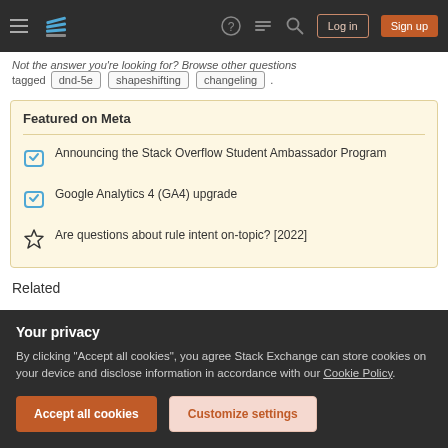Navigation bar with hamburger menu, Stack Exchange logo, help, inbox, search icons, Log in and Sign up buttons
Not the answer you're looking for? Browse other questions tagged dnd-5e shapeshifting changeling .
Featured on Meta
Announcing the Stack Overflow Student Ambassador Program
Google Analytics 4 (GA4) upgrade
Are questions about rule intent on-topic? [2022]
Related
Your privacy
By clicking "Accept all cookies", you agree Stack Exchange can store cookies on your device and disclose information in accordance with our Cookie Policy.
Accept all cookies   Customize settings